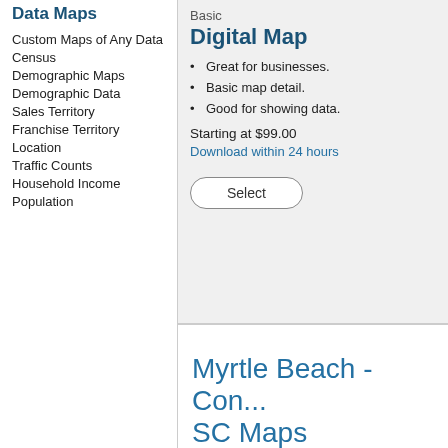Data Maps
Custom Maps of Any Data
Census
Demographic Maps
Demographic Data
Sales Territory
Franchise Territory
Location
Traffic Counts
Household Income
Population
Basic
Digital Map
Great for businesses.
Basic map detail.
Good for showing data.
Starting at $99.00
Download within 24 hours
Select
Premium
Digital M...
Attractive...
Referenc...
Great for...
Starting at ...
Download w...
Sele...
Myrtle Beach - Con... SC Maps
All Maps